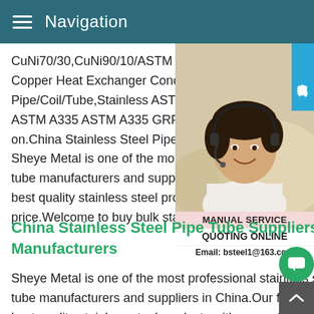Navigation
CuNi70/30,CuNi90/10/ASTM B 819 Copper Heat Exchanger Condenser Air Coil Pipe/Coil/Tube,Stainless ASTM A213 Sml ASTM A335 ASTM A335 GRP11 Plain/Be on.China Stainless Steel Pipe Tube Suppl Sheye Metal is one of the most professional tube manufacturers and suppliers in China best quality stainless steel products with c price.Welcome to buy bulk stainless steel
[Figure (photo): Woman with headset smiling, customer service representative. Overlay badge with Chinese text '在线咨询' (Online Consultation) in blue. Below: MANUAL SERVICE label, QUOTING ONLINE label, Email: bsteel1@163.com]
China Stainless Steel Pipe Tube Suppliers Manufacturers
Sheye Metal is one of the most professional stainless steel pipe tube manufacturers and suppliers in China.Our factory offers the best quality stainless steel products with competitive price.Welcome to buy bulk stainless steel pipe tube in stock